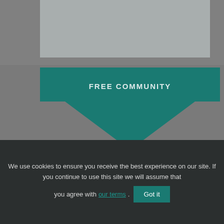[Figure (screenshot): Gray background area at top representing blurred/faded webpage content]
FREE COMMUNITY
Join our free, supportive, kickass
[Figure (other): Scroll-to-top button with upward chevron arrow on dark gray background]
We use cookies to ensure you receive the best experience on our site. If you continue to use this site we will assume that you agree with our terms. Got it